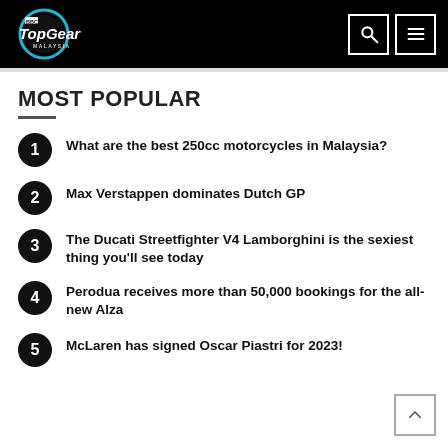BBC Top Gear Malaysia
MOST POPULAR
What are the best 250cc motorcycles in Malaysia?
Max Verstappen dominates Dutch GP
The Ducati Streetfighter V4 Lamborghini is the sexiest thing you'll see today
Perodua receives more than 50,000 bookings for the all-new Alza
McLaren has signed Oscar Piastri for 2023!